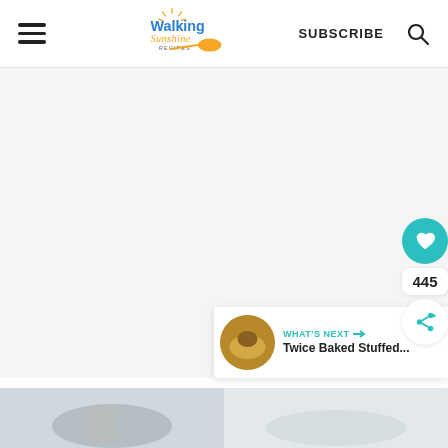Walking Sunshine Recipes | SUBSCRIBE
[Figure (screenshot): Large white/light gray content area, blank advertisement or image placeholder]
445
WHAT'S NEXT → Twice Baked Stuffed...
[Figure (photo): Two food photos side by side at the bottom of the page, partially visible]